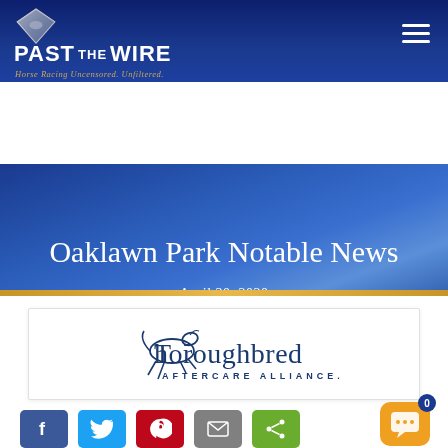PAST THE WIRE — Horse Racing Uncensored. Unfiltered.
Oaklawn Park Notable News
April 30, 2020
[Figure (logo): Thoroughbred Aftercare Alliance logo — illustrated horse jumping over text]
[Figure (infographic): Social share buttons: Facebook, Twitter, Pinterest, Email, Share. Chat widget with orange bubble and badge showing 0.]